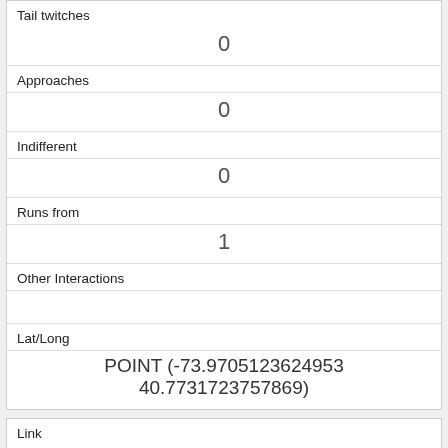| Tail twitches | 0 |
| Approaches | 0 |
| Indifferent | 0 |
| Runs from | 1 |
| Other Interactions |  |
| Lat/Long | POINT (-73.9705123624953 40.7731723757869) |
| Link | 181 |
| rowid | 181 |
| longitude | -73.9708775864433 |
| latitude |  |